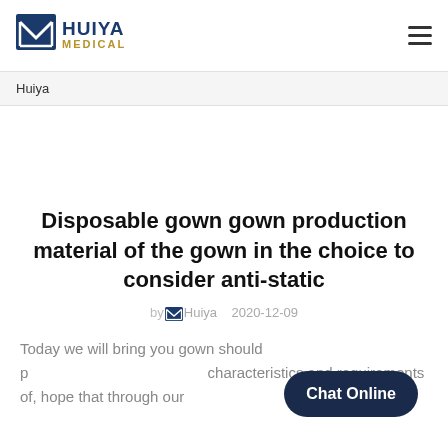HUIYA MEDICAL
Huiya
Disposable gown gown production material of the gown in the choice to consider anti-static
by Huiya   2020-12-09
Today we will bring you gown should p characteristics and requirements of, hope that through our